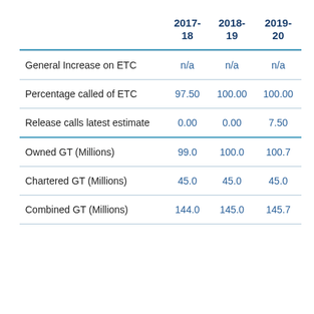|  | 2017-18 | 2018-19 | 2019-20 |
| --- | --- | --- | --- |
| General Increase on ETC | n/a | n/a | n/a |
| Percentage called of ETC | 97.50 | 100.00 | 100.00 |
| Release calls latest estimate | 0.00 | 0.00 | 7.50 |
| Owned GT (Millions) | 99.0 | 100.0 | 100.7 |
| Chartered GT (Millions) | 45.0 | 45.0 | 45.0 |
| Combined GT (Millions) | 144.0 | 145.0 | 145.7 |